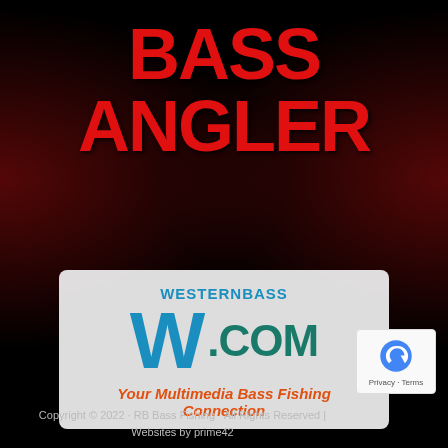BASS ANGLER Magazine
[Figure (logo): WesternBass.com logo — large stylized W with fish image, text 'WESTERNBASS.COM' in blue/teal, tagline 'Your Multimedia Bass Fishing Connection' in orange italic]
[Figure (other): Google reCAPTCHA badge with Privacy and Terms links]
Copyright © 2022 · RB Bass Fishing · All Rights Reserved | Websites by prime42